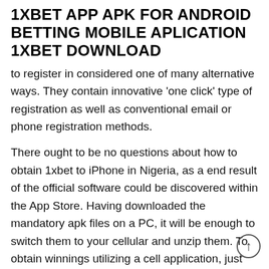1XBET APP APK FOR ANDROID BETTING MOBILE APLICATION 1XBET DOWNLOAD
to register in considered one of many alternative ways. They contain innovative 'one click' type of registration as well as conventional email or phone registration methods.
There ought to be no questions about how to obtain 1xbet to iPhone in Nigeria, as a end result of the official software could be discovered within the App Store. Having downloaded the mandatory apk files on a PC, it will be enough to switch them to your cellular and unzip them. To obtain winnings utilizing a cell application, just luck and aspiration is sufficient. To download the 1xBet software, you can go to the necessary tab on the web site of the bookmaker. This is a giant plus, because almost each registered user can use this service on their smartphone or tablet. To do that, just click in your